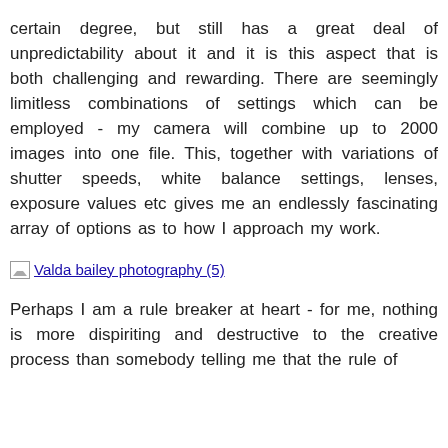certain degree, but still has a great deal of unpredictability about it and it is this aspect that is both challenging and rewarding. There are seemingly limitless combinations of settings which can be employed - my camera will combine up to 2000 images into one file. This, together with variations of shutter speeds, white balance settings, lenses, exposure values etc gives me an endlessly fascinating array of options as to how I approach my work.
[Figure (photo): Placeholder image thumbnail labeled 'Valda bailey photography (5)']
Perhaps I am a rule breaker at heart - for me, nothing is more dispiriting and destructive to the creative process than somebody telling me that the rule of